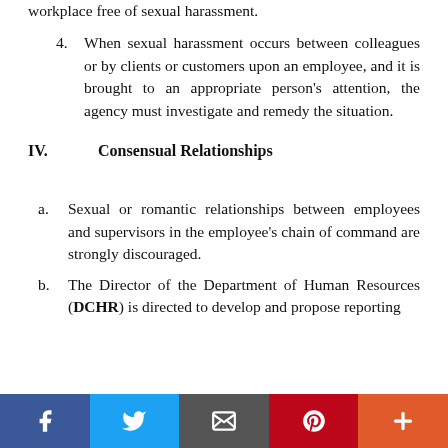workplace free of sexual harassment.
4. When sexual harassment occurs between colleagues or by clients or customers upon an employee, and it is brought to an appropriate person’s attention, the agency must investigate and remedy the situation.
IV. Consensual Relationships
a. Sexual or romantic relationships between employees and supervisors in the employee's chain of command are strongly discouraged.
b. The Director of the Department of Human Resources (DCHR) is directed to develop and propose reporting